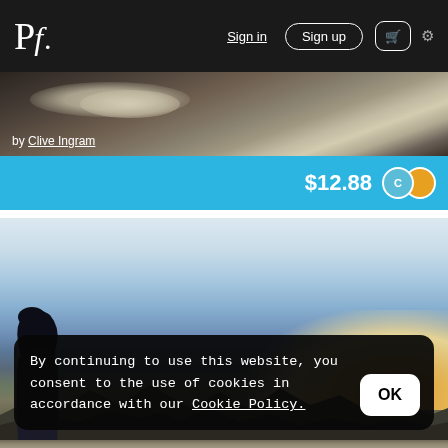Pf. | Sign in | Sign up | cart | settings
[Figure (photo): Partial photo strip showing animal (dog/wolf) in rocky environment, with attribution 'by Clive Ingram' in bottom left]
by Clive Ingram
$12.88
[Figure (photo): Landscape photo of a person with long dark hair standing facing away, looking at mountain range at sunset/dusk with blue and orange sky]
By continuing to use this website, you consent to the use of cookies in accordance with our Cookie Policy.